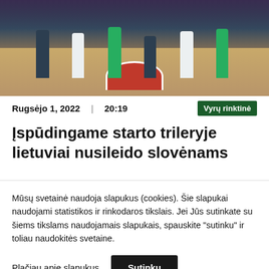[Figure (photo): Basketball game action photo showing players on a court with a red circle at center, crowd in background, players in dark and green uniforms]
Rugsėjo 1, 2022 | 20:19
Vyrų rinktinė
Įspūdingame starto trileryje lietuviai nusileido slovėnams
Mūsų svetainė naudoja slapukus (cookies). Šie slapukai naudojami statistikos ir rinkodaros tikslais. Jei Jūs sutinkate su šiems tikslams naudojamais slapukais, spauskite "sutinku" ir toliau naudokitės svetaine.
Plačiau apie slapukus
Sutinku